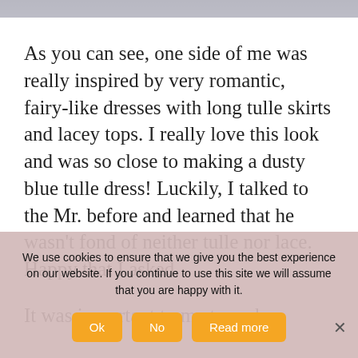[Figure (photo): Partial photo strip at top of page showing fabric/dress in muted blue-grey tones]
As you can see, one side of me was really inspired by very romantic, fairy-like dresses with long tulle skirts and lacey tops. I really love this look and was so close to making a dusty blue tulle dress! Luckily, I talked to the Mr. before and learned that he wasn't fond of neither tulle nor lace. Happy that I asked.
It was important to me to make
We use cookies to ensure that we give you the best experience on our website. If you continue to use this site we will assume that you are happy with it.